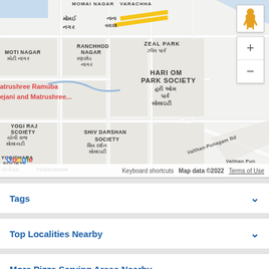[Figure (map): Google Maps screenshot showing area around Hari Om Park Society in Surat, India, with Gujarati script labels for neighborhoods including Momai Nagar, Varachha, Zeal Park, Ranchhod Nagar, Moti Nagar, Yogi Raj Society, Yogidhara Society, Shiv Darshan Society, and reference to Matrushree Ramuba Rajani. Map data 2022, with zoom controls and pegman icon.]
Tags
Top Localities Nearby
More Pizza Serving Areas Nearby
Categories